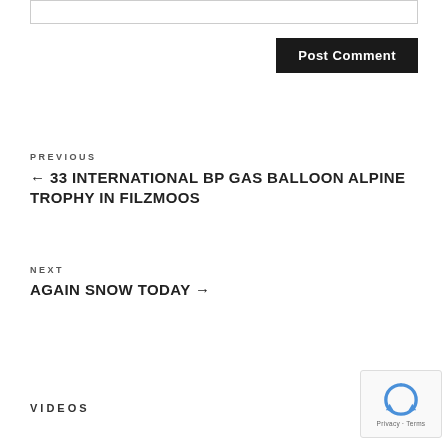[input box]
Post Comment
PREVIOUS
← 33 INTERNATIONAL BP GAS BALLOON ALPINE TROPHY IN FILZMOOS
NEXT
AGAIN SNOW TODAY →
VIDEOS